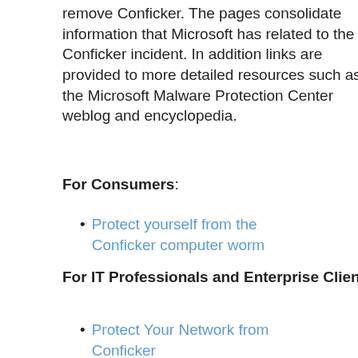remove Conficker. The pages consolidate information that Microsoft has related to the Conficker incident. In addition links are provided to more detailed resources such as the Microsoft Malware Protection Center weblog and encyclopedia.
For Consumers:
Protect yourself from the Conficker computer worm
For IT Professionals and Enterprise Clients:
Protect Your Network from Conficker